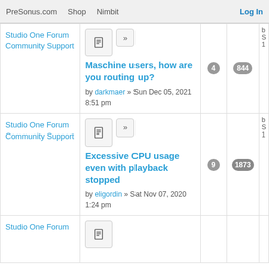PreSonus.com  Shop  Nimbit  Log In
Studio One Forum Community Support
Maschine users, how are you routing up?
by darkmaer » Sun Dec 05, 2021 8:51 pm
4
844
Studio One Forum Community Support
Excessive CPU usage even with playback stopped
by eligordin » Sat Nov 07, 2020 1:24 pm
9
1873
Studio One Forum